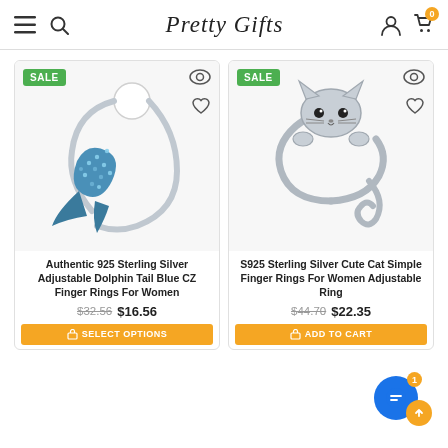Pretty Gifts — navigation header with hamburger menu, search, account, and cart icons
[Figure (photo): Authentic 925 Sterling Silver Adjustable Dolphin Tail Blue CZ Finger Ring product photo on white background with SALE badge]
[Figure (photo): S925 Sterling Silver Cute Cat Simple Finger Ring product photo on white background with SALE badge]
Authentic 925 Sterling Silver Adjustable Dolphin Tail Blue CZ Finger Rings For Women
$32.56 $16.56
S925 Sterling Silver Cute Cat Simple Finger Rings For Women Adjustable Ring
$44.70 $22.35